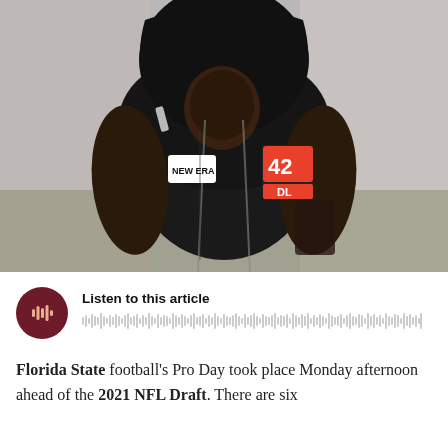[Figure (photo): A muscular football player wearing a black sleeveless hoodie with number 42 and DL label on the chest, and a New Era cap logo, looking downward. The player appears to be at an NFL Combine or Pro Day event.]
Listen to this article
Florida State football's Pro Day took place Monday afternoon ahead of the 2021 NFL Draft. There are six